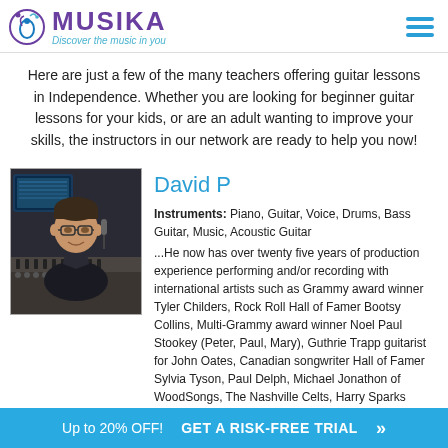MUSIKA — Discover the music in you
Here are just a few of the many teachers offering guitar lessons in Independence. Whether you are looking for beginner guitar lessons for your kids, or are an adult wanting to improve your skills, the instructors in our network are ready to help you now!
[Figure (photo): Photo of David P, a middle-aged man with glasses sitting in a recording studio with mixing equipment and screens visible in the background.]
David P
Instruments: Piano, Guitar, Voice, Drums, Bass Guitar, Music, Acoustic Guitar
...He now has over twenty five years of production experience performing and/or recording with international artists such as Grammy award winner Tyler Childers, Rock Roll Hall of Famer Bootsy Collins, Multi-Grammy award winner Noel Paul Stookey (Peter, Paul, Mary), Guthrie Trapp guitarist for John Oates, Canadian songwriter Hall of Famer Sylvia Tyson, Paul Delph, Michael Jonathon of WoodSongs, The Nashville Celts, Harry Sparks
Up to 20% OFF!   GET A RISK-FREE TRIAL »